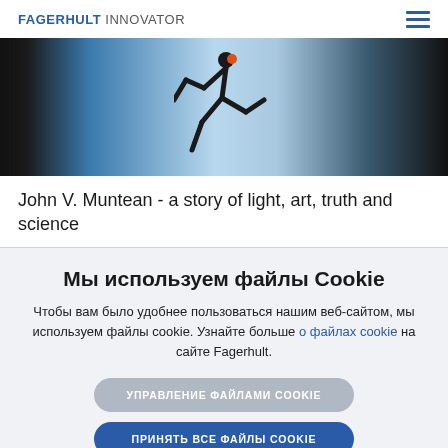FAGERHULT INNOVATOR
[Figure (photo): Dark artistic photo showing a silhouette of a running figure against a glowing backlit panel, with dark background on both sides.]
John V. Muntean - a story of light, art, truth and science
Мы используем файлы Cookie
Чтобы вам было удобнее пользоваться нашим веб-сайтом, мы используем файлы cookie. Узнайте больше о файлах cookie на сайте Fagerhult.
УПРАВЛЕНИЕ ФАЙЛАМИ COOKIE
ПРИНЯТЬ ВСЕ ФАЙЛЫ COOKIE